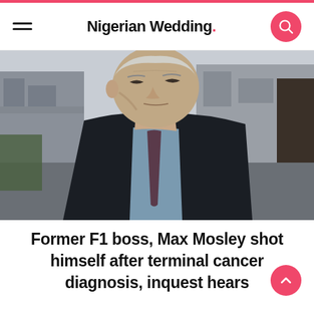Nigerian Wedding
[Figure (photo): Elderly man with grey hair wearing a dark coat and tie, walking outdoors in an urban street setting with buildings in background]
Former F1 boss, Max Mosley shot himself after terminal cancer diagnosis, inquest hears